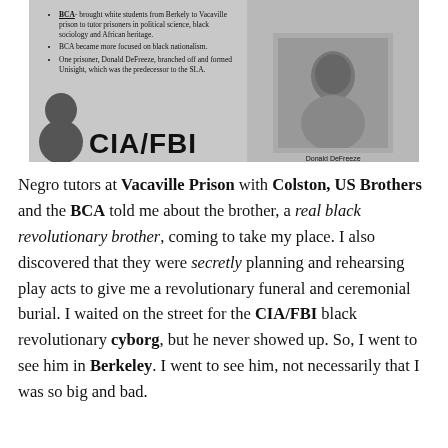[Figure (infographic): An infographic showing bullet points about BCA and Donald DeFreeze, with a photo of DeFreeze on the right and large CIA/FBI text at the bottom left.]
Negro tutors at Vacaville Prison with Colston, US Brothers and the BCA told me about the brother, a real black revolutionary brother, coming to take my place. I also discovered that they were secretly planning and rehearsing play acts to give me a revolutionary funeral and ceremonial burial. I waited on the street for the CIA/FBI black revolutionary cyborg, but he never showed up. So, I went to see him in Berkeley. I went to see him, not necessarily that I was so big and bad.